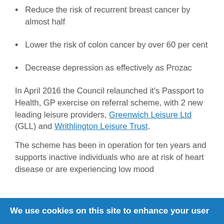Reduce the risk of recurrent breast cancer by almost half
Lower the risk of colon cancer by over 60 per cent
Decrease depression as effectively as Prozac
In April 2016 the Council relaunched it's Passport to Health, GP exercise on referral scheme, with 2 new leading leisure providers, Greenwich Leisure Ltd (GLL) and Writhlington Leisure Trust.
The scheme has been in operation for ten years and supports inactive individuals who are at risk of heart disease or are experiencing low mood
We use cookies on this site to enhance your user